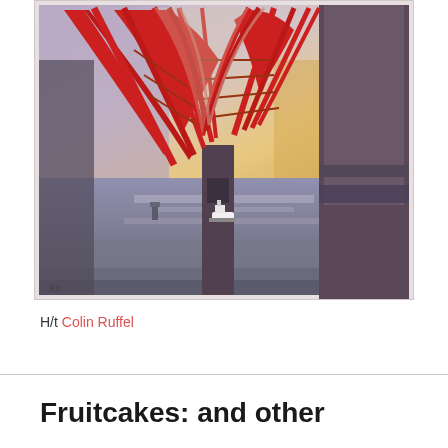[Figure (illustration): Painting of the Forth Rail Bridge in Scotland, showing the massive red steel cantilever structure from below, with water in the foreground, a small tugboat, and a warm sunset sky. The style is painterly with mixed media. Artist initials visible in bottom left corner.]
H/t Colin Ruffel
Fruitcakes: and other